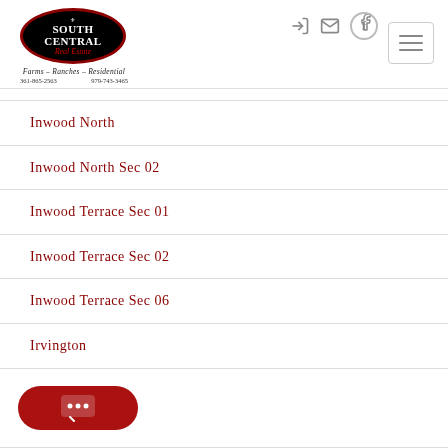[Figure (logo): South Central Real Estate logo — black oval with red border, white text reading SOUTH CENTRAL Real Estate, tagline Farms - Ranches - Residential, two phone numbers below]
Inwood North
Inwood North Sec 02
Inwood Terrace Sec 01
Inwood Terrace Sec 02
Inwood Terrace Sec 06
Irvington